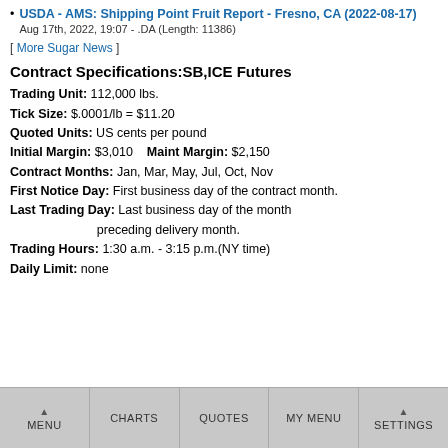USDA - AMS: Shipping Point Fruit Report - Fresno, CA (2022-08-17) Aug 17th, 2022, 19:07 - .DA (Length: 11386)
[ More Sugar News ]
Contract Specifications: SB,ICE Futures
Trading Unit: 112,000 lbs.
Tick Size: $.0001/lb = $11.20
Quoted Units: US cents per pound
Initial Margin: $3,010    Maint Margin: $2,150
Contract Months: Jan, Mar, May, Jul, Oct, Nov
First Notice Day: First business day of the contract month.
Last Trading Day: Last business day of the month preceding delivery month.
Trading Hours: 1:30 a.m. - 3:15 p.m.(NY time)
Daily Limit: none
MENU | CHARTS | QUOTES | MY MENU | SETTINGS